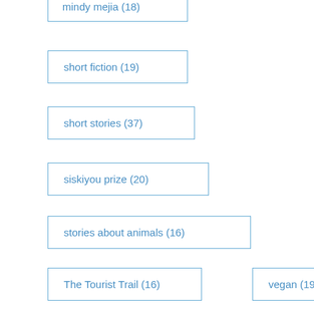mindy mejia (18)
short fiction (19)
short stories (37)
siskiyou prize (20)
stories about animals (16)
The Tourist Trail (16)
vegan (19)
writing (17)
writing about animals (57)